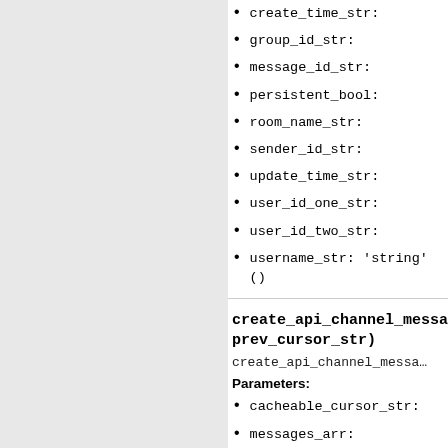create_time_str:
group_id_str:
message_id_str:
persistent_bool:
room_name_str:
sender_id_str:
update_time_str:
user_id_one_str:
user_id_two_str:
username_str: 'string' ()
create_api_channel_messa… prev_cursor_str)
create_api_channel_messa…
Parameters:
cacheable_cursor_str:
messages_arr:
next_cursor_str:
prev_cursor_str: 'string…